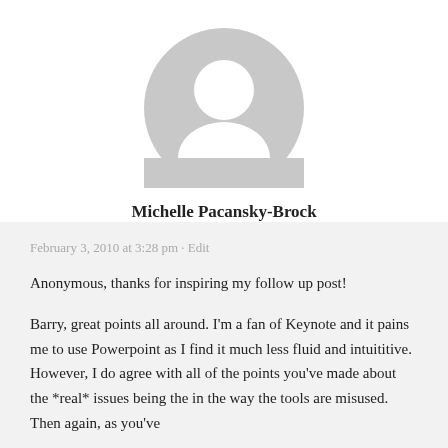[Figure (illustration): Default grey avatar/profile picture icon showing a silhouette of a person (circle head and rounded shoulders) on a white background]
Michelle Pacansky-Brock
February 3, 2010 at 3:28 pm · Edit
Anonymous, thanks for inspiring my follow up post!
Barry, great points all around. I'm a fan of Keynote and it pains me to use Powerpoint as I find it much less fluid and intuititive. However, I do agree with all of the points you've made about the *real* issues being the in the way the tools are misused. Then again, as you've